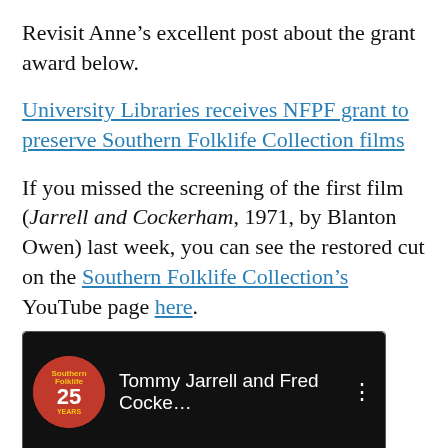Revisit Anne’s excellent post about the grant award below.
University Libraries receives NFPF grant to preserve Southern Folklife Collection films
If you missed the screening of the first film (Jarrell and Cockerham, 1971, by Blanton Owen) last week, you can see the restored cut on the Southern Folklife Collection’s YouTube page here.
[Figure (screenshot): YouTube video thumbnail showing Southern Folklife Collection 25th anniversary logo and title 'Tommy Jarrell and Fred Cocke...' with a dark background showing a blurred face below.]